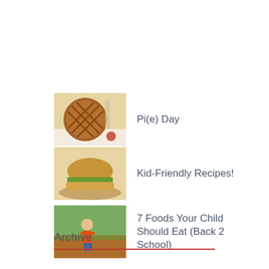Pi(e) Day
Kid-Friendly Recipes!
7 Foods Your Child Should Eat (Back 2 School)
Archive